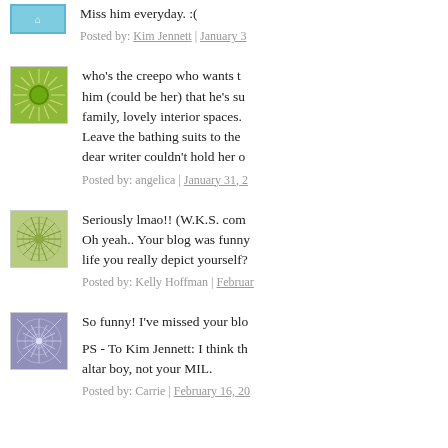Miss him everyday. :(
Posted by: Kim Jennett | January 3
who's the creepo who wants to him (could be her) that he's su family, lovely interior spaces. Leave the bathing suits to the dear writer couldn't hold her o
Posted by: angelica | January 31, 2
Seriously lmao!! (W.K.S. comm Oh yeah.. Your blog was funny life you really depict yourself?
Posted by: Kelly Hoffman | Februar
So funny! I've missed your blo
PS - To Kim Jennett: I think th altar boy, not your MIL.
Posted by: Carrie | February 16, 20